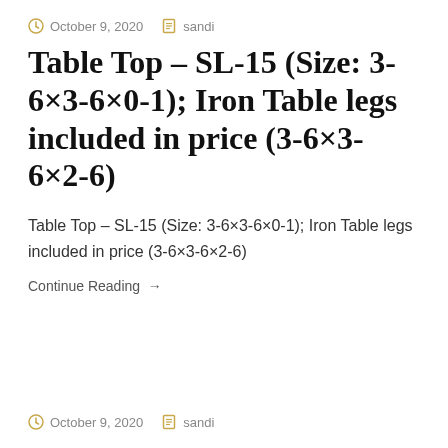October 9, 2020   sandi
Table Top – SL-15 (Size: 3-6×3-6×0-1); Iron Table legs included in price (3-6×3-6×2-6)
Table Top – SL-15 (Size: 3-6×3-6×0-1); Iron Table legs included in price (3-6×3-6×2-6)
Continue Reading →
October 9, 2020   sandi